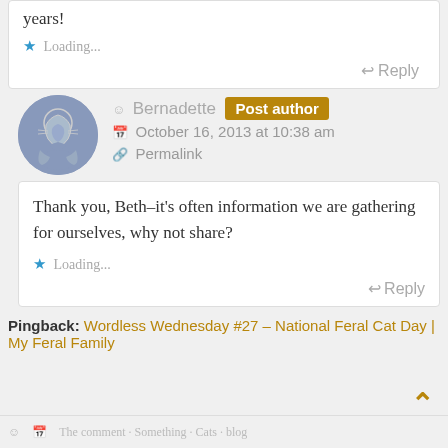years!
Loading...
Reply
Bernadette Post author
October 16, 2013 at 10:38 am
Permalink
Thank you, Beth–it's often information we are gathering for ourselves, why not share?
Loading...
Reply
Pingback: Wordless Wednesday #27 – National Feral Cat Day | My Feral Family